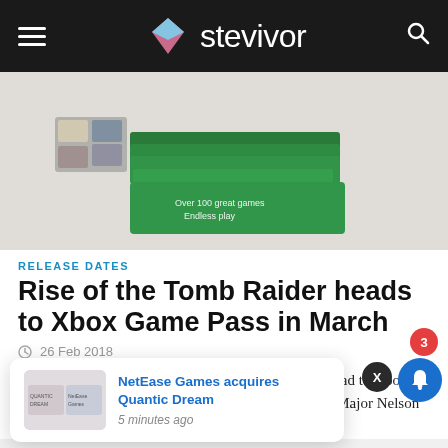stevivor
[Figure (photo): Xbox Game Pass physical card boxes stacked, green colored packaging with text 'Over 100 great games Endless play']
RELEASE DATES
Rise of the Tomb Raider heads to Xbox Game Pass in March
26 Feb 2018
Rise of the Tomb Raider and seven other titles will head to Xbox Game Pass, Microsoft has announced. Xbox's Larry 'Major Nelson' Hryb
[Figure (screenshot): Notification popup: NetEase Games acquires Quantic Dream, 5 minutes ago, with Quantic Dream and NetEase logos thumbnail]